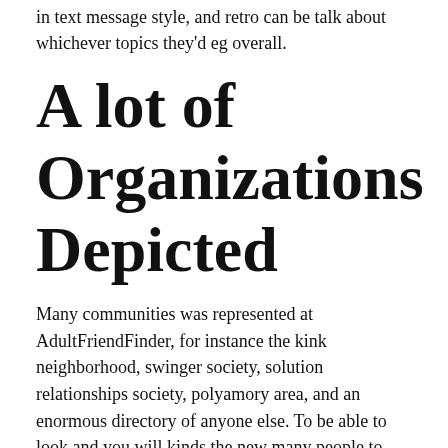in text message style, and retro can be talk about whichever topics they'd eg overall.
A lot of Organizations Depicted
Many communities was represented at AdultFriendFinder, for instance the kink neighborhood, swinger society, solution relationships society, polyamory area, and an enormous directory of anyone else. To be able to look and you will kinds the new many people to your the site is important, and there's a location research available along with other an easy way